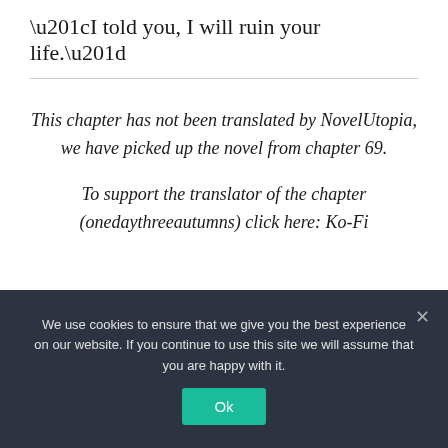“I told you, I will ruin your life.”
This chapter has not been translated by NovelUtopia, we have picked up the novel from chapter 69.

To support the translator of the chapter (onedaythreeautumns) click here: Ko-Fi
We use cookies to ensure that we give you the best experience on our website. If you continue to use this site we will assume that you are happy with it.